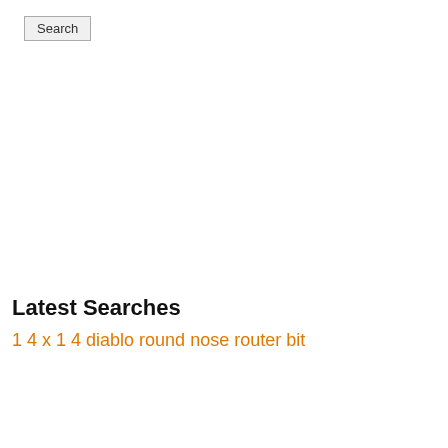Search
Latest Searches
1 4 x 1 4 diablo round nose router bit